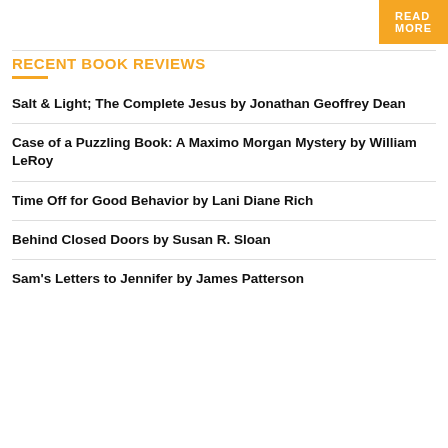READ MORE
RECENT BOOK REVIEWS
Salt & Light; The Complete Jesus by Jonathan Geoffrey Dean
Case of a Puzzling Book: A Maximo Morgan Mystery by William LeRoy
Time Off for Good Behavior by Lani Diane Rich
Behind Closed Doors by Susan R. Sloan
Sam's Letters to Jennifer by James Patterson